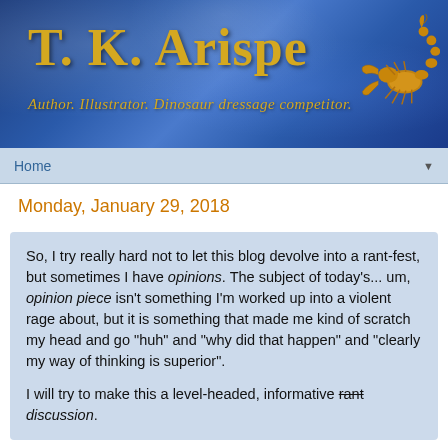[Figure (illustration): Blog header banner with blue textured background, gold serif text reading 'T. K. Arispe', subtitle 'Author. Illustrator. Dinosaur dressage competitor.' and a golden scorpion illustration on the right]
Home ▼
Monday, January 29, 2018
So, I try really hard not to let this blog devolve into a rant-fest, but sometimes I have opinions. The subject of today's... um, opinion piece isn't something I'm worked up into a violent rage about, but it is something that made me kind of scratch my head and go "huh" and "why did that happen" and "clearly my way of thinking is superior".
I will try to make this a level-headed, informative rant discussion.